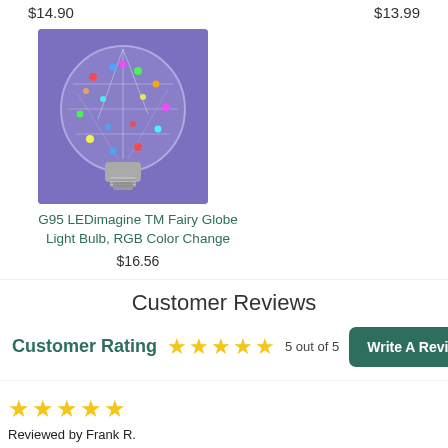$14.90
$13.99
[Figure (photo): LED fairy globe light bulb with colorful RGB lights inside, displayed against a purple background]
G95 LEDimagine TM Fairy Globe Light Bulb, RGB Color Change
$16.56
Customer Reviews
Customer Rating   5 out of 5   Write A Review
Reviewed by Frank R.